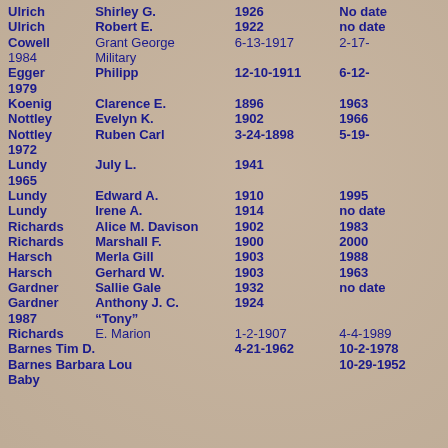| Last Name | First Name | Birth | Death |
| --- | --- | --- | --- |
| Ulrich | Shirley G. | 1926 | No date |
| Ulrich | Robert E. | 1922 | no date |
| Cowell | Grant George | 6-13-1917 | 2-17-1984  Military |
| Egger | Philipp | 12-10-1911 | 6-12-1979 |
| Koenig | Clarence E. | 1896 | 1963 |
| Nottley | Evelyn K. | 1902 | 1966 |
| Nottley | Ruben Carl | 3-24-1898 | 5-19-1972 |
| Lundy | July L. | 1941 | 1965 |
| Lundy | Edward A. | 1910 | 1995 |
| Lundy | Irene A. | 1914 | no date |
| Richards | Alice M. Davison | 1902 | 1983 |
| Richards | Marshall F. | 1900 | 2000 |
| Harsch | Merla Gill | 1903 | 1988 |
| Harsch | Gerhard W. | 1903 | 1963 |
| Gardner | Sallie Gale | 1932 | no date |
| Gardner | Anthony J. C.  1924 |  | 1987  "Tony" |
| Richards | E. Marion | 1-2-1907 | 4-4-1989 |
| Barnes Tim D. |  | 4-21-1962 | 10-2-1978 |
| Barnes Barbara Lou |  |  | 10-29-1952 |
| Baby |  |  |  |